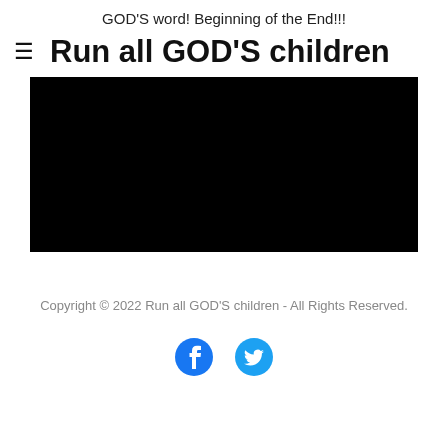GOD'S word! Beginning of the End!!!
Run all GOD'S children
[Figure (other): Black rectangular image/video placeholder]
Copyright © 2022 Run all GOD'S children - All Rights Reserved.
[Figure (other): Facebook and Twitter social media icons in blue]